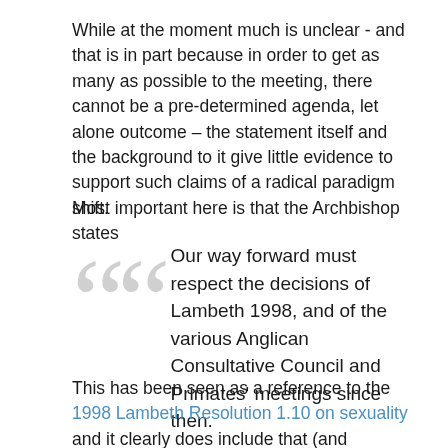While at the moment much is unclear - and that is in part because in order to get as many as possible to the meeting, there cannot be a pre-determined agenda, let alone outcome – the statement itself and the background to it give little evidence to support such claims of a radical paradigm shift.
Most important here is that the Archbishop states
Our way forward must respect the decisions of Lambeth 1998, and of the various Anglican Consultative Council and Primates' meetings since then.
This has been seen as a reference to the 1998 Lambeth Resolution 1.10 on sexuality and it clearly does include that (and presumably the consequent moratoria) but the